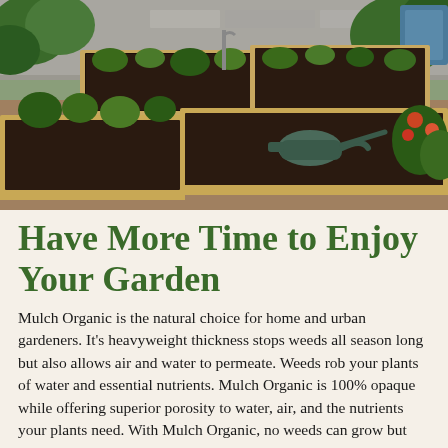[Figure (photo): Raised wooden garden beds with dark soil and growing plants, a watering can on bark chip path, surrounded by lush greenery and flowers]
Have More Time to Enjoy Your Garden
Mulch Organic is the natural choice for home and urban gardeners. It's heavyweight thickness stops weeds all season long but also allows air and water to permeate. Weeds rob your plants of water and essential nutrients. Mulch Organic is 100% opaque while offering superior porosity to water, air, and the nutrients your plants need. With Mulch Organic, no weeds can grow but your plants